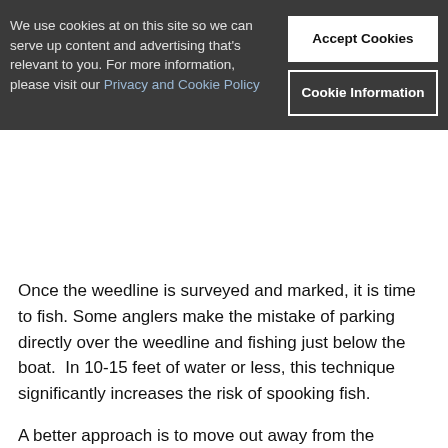these significant locations in the weedline.
We use cookies at on this site so we can serve up content and advertising that's relevant to you. For more information, please visit our Privacy and Cookie Policy
Accept Cookies
Cookie Information
Once the weedline is surveyed and marked, it is time to fish. Some anglers make the mistake of parking directly over the weedline and fishing just below the boat.  In 10-15 feet of water or less, this technique significantly increases the risk of spooking fish.
A better approach is to move out away from the